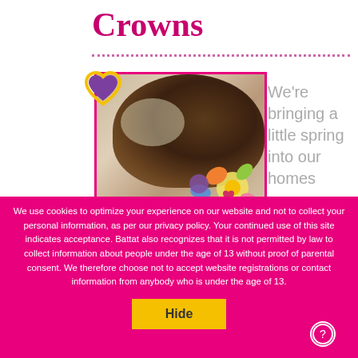Crowns
[Figure (photo): Back of a child's head wearing a colorful paper flower crown, photo shown inside a pink-bordered frame with a purple heart decoration in the top-left corner]
We're bringing a little spring into our homes
We use cookies to optimize your experience on our website and not to collect your personal information, as per our privacy policy. Your continued use of this site indicates acceptance. Battat also recognizes that it is not permitted by law to collect information about people under the age of 13 without proof of parental consent. We therefore choose not to accept website registrations or contact information from anybody who is under the age of 13.
Hide